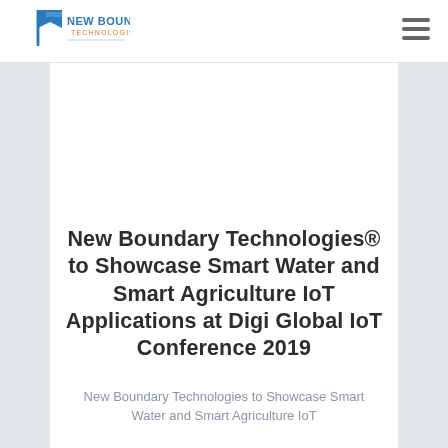[Figure (logo): New Boundary Technologies logo with blue flag icon and company name in blue and orange text]
New Boundary Technologies® to Showcase Smart Water and Smart Agriculture IoT Applications at Digi Global IoT Conference 2019
New Boundary Technologies to Showcase Smart Water and Smart Agriculture IoT